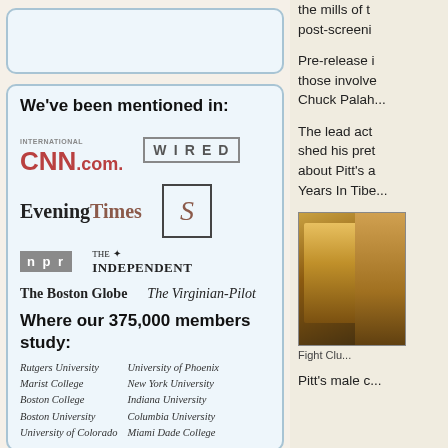[Figure (logo): Empty rounded box placeholder at top left]
We've been mentioned in:
[Figure (logo): Media logos: CNN International .com, WIRED, Evening Times, S logo, NPR, The Independent, The Boston Globe, The Virginian-Pilot]
Where our 375,000 members study:
Rutgers University
Marist College
Boston College
Boston University
University of Colorado
University of Phoenix
New York University
Indiana University
Columbia University
Miami Dade College
the mills of t... post-screening
Pre-release i... those involve... Chuck Palah...
The lead act... shed his pre... about Pitt's a... Years In Tibe...
[Figure (photo): Fight Club movie image, close-up]
Fight Clu...
Pitt's male c...